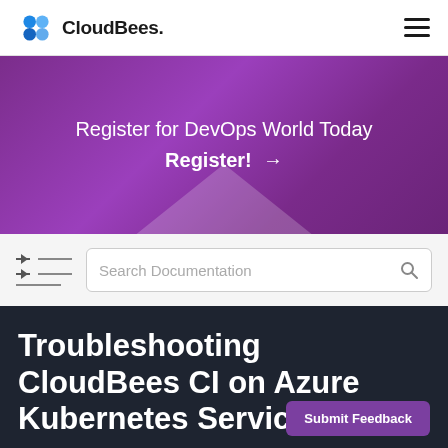[Figure (logo): CloudBees logo with icon and text]
Register for DevOps World Today Register! →
Search Documentation
Troubleshooting CloudBees CI on Azure Kubernetes Service (AKS)
Submit Feedback